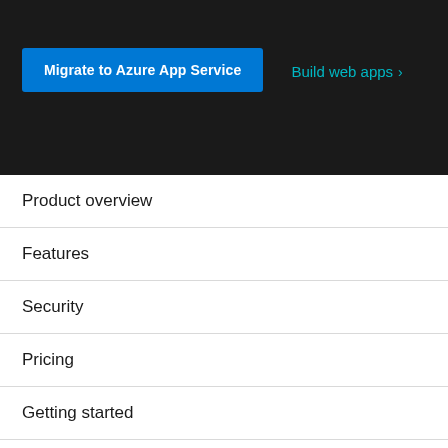[Figure (screenshot): Dark hero banner with 'Migrate to Azure App Service' blue button and 'Build web apps >' cyan link]
Product overview
Features
Security
Pricing
Getting started
Documentation
Customer stories
[Figure (screenshot): Chat with Sales widget button in bottom right corner]